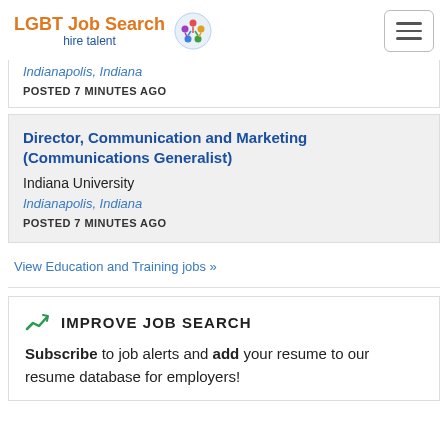LGBT Job Search hire talent
Indianapolis, Indiana
POSTED 7 MINUTES AGO
Director, Communication and Marketing (Communications Generalist)
Indiana University
Indianapolis, Indiana
POSTED 7 MINUTES AGO
View Education and Training jobs »
IMPROVE JOB SEARCH
Subscribe to job alerts and add your resume to our resume database for employers!